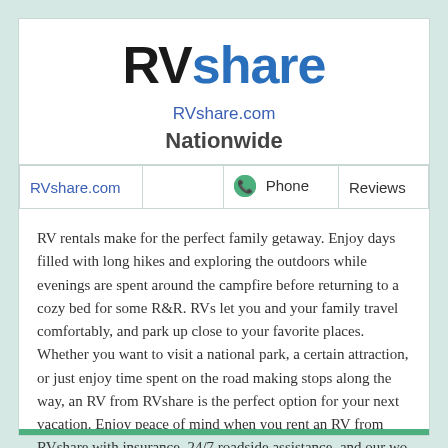RVshare
RVshare.com
Nationwide
| RVshare.com |  | Phone | Reviews |
| --- | --- | --- | --- |
|  |
RV rentals make for the perfect family getaway. Enjoy days filled with long hikes and exploring the outdoors while evenings are spent around the campfire before returning to a cozy bed for some R&R. RVs let you and your family travel comfortably, and park up close to your favorite places. Whether you want to visit a national park, a certain attraction, or just enjoy time spent on the road making stops along the way, an RV from RVshare is the perfect option for your next vacation. Enjoy peace of mind when you rent an RV from RVshare with insurance, 24/7 roadside assistance, and our wo ... Read more